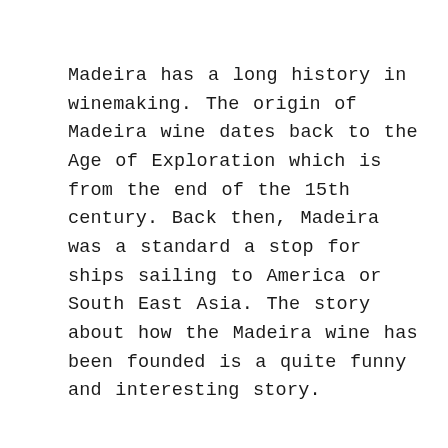Madeira has a long history in winemaking. The origin of Madeira wine dates back to the Age of Exploration which is from the end of the 15th century. Back then, Madeira was a standard a stop for ships sailing to America or South East Asia. The story about how the Madeira wine has been founded is a quite funny and interesting story.